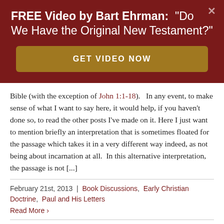FREE Video by Bart Ehrman: "Do We Have the Original New Testament?"
[Figure (other): GET VIDEO NOW button (dark gold/brown rounded rectangle)]
Bible (with the exception of John 1:1-18).   In any event, to make sense of what I want to say here, it would help, if you haven't done so, to read the other posts I've made on it. Here I just want to mention briefly an interpretation that is sometimes floated for the passage which takes it in a very different way indeed, as not being about incarnation at all.  In this alternative interpretation, the passage is not [...]
February 21st, 2013  |  Book Discussions,  Early Christian Doctrine,  Paul and His Letters
Read More ›